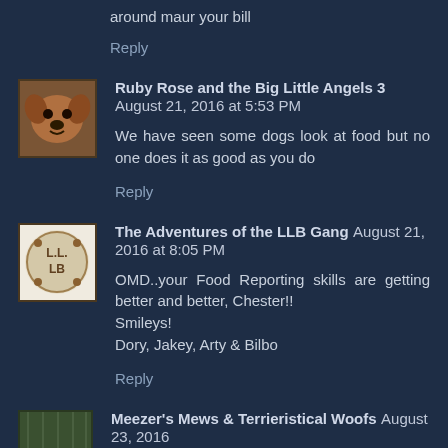around maur your bill
Reply
Ruby Rose and the Big Little Angels 3 August 21, 2016 at 5:53 PM
We have seen some dogs look at food but no one does it as good as you do
Reply
The Adventures of the LLB Gang August 21, 2016 at 8:05 PM
OMD..your Food Reporting skills are getting better and better, Chester!!
Smileys!
Dory, Jakey, Arty & Bilbo
Reply
Meezer's Mews & Terrieristical Woofs August 23, 2016